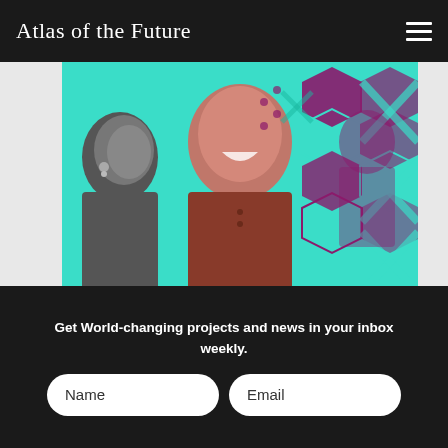Atlas of the Future
[Figure (photo): Two people shown together; one in grayscale profile from the left, one smiling in color wearing a maroon top, against a teal and purple geometric background with hexagon patterns.]
The beauty and contradictions of mixed identity
As with the best ideas, the reality behind the simplicity of the mission is deeper and more complex. Today the 80-strong team runs not only the flagship Blavity brands, but also the world's largest
Get World-changing projects and news in your inbox weekly.